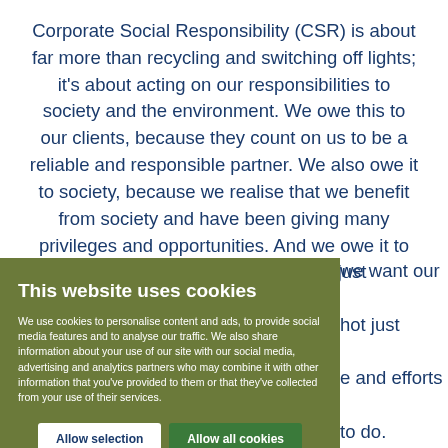Corporate Social Responsibility (CSR) is about far more than recycling and switching off lights; it's about acting on our responsibilities to society and the environment. We owe this to our clients, because they count on us to be a reliable and responsible partner. We also owe it to society, because we realise that we benefit from society and have been giving many privileges and opportunities. And we owe it to ourselves, because we are not just [partially obscured] we want our [partially obscured] not just [partially obscured] e and efforts [partially obscured] to do. [partially obscured] erview on our [partially obscured] ives.
This website uses cookies

We use cookies to personalise content and ads, to provide social media features and to analyse our traffic. We also share information about your use of our site with our social media, advertising and analytics partners who may combine it with other information that you've provided to them or that they've collected from your use of their services.

[Allow selection] [Allow all cookies]